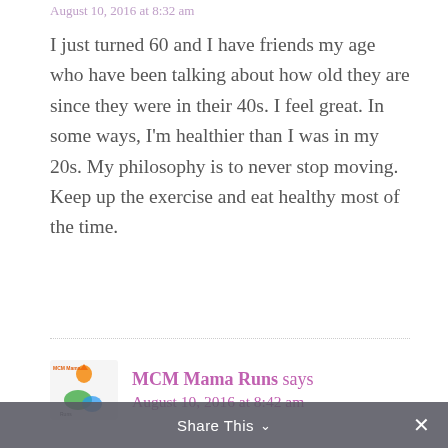August 10, 2016 at 8:32 am
I just turned 60 and I have friends my age who have been talking about how old they are since they were in their 40s. I feel great. In some ways, I'm healthier than I was in my 20s. My philosophy is to never stop moving. Keep up the exercise and eat healthy most of the time.
MCM Mama Runs says
August 10, 2016 at 8:42 am
It's funny – I'm in my mid 40s, but I still think of myself as in my 20s. So, not a lot of old talk here. I do sometimes shock myself when I see a friend my age and I think...
Share This